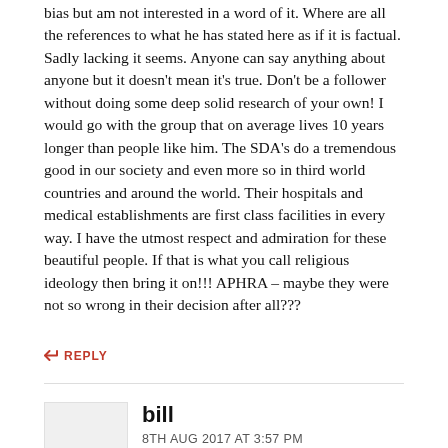bias but am not interested in a word of it. Where are all the references to what he has stated here as if it is factual. Sadly lacking it seems. Anyone can say anything about anyone but it doesn't mean it's true. Don't be a follower without doing some deep solid research of your own! I would go with the group that on average lives 10 years longer than people like him. The SDA's do a tremendous good in our society and even more so in third world countries and around the world. Their hospitals and medical establishments are first class facilities in every way. I have the utmost respect and admiration for these beautiful people. If that is what you call religious ideology then bring it on!!! APHRA – maybe they were not so wrong in their decision after all???
REPLY
bill
8TH AUG 2017 AT 3:57 PM
SDAs are self-selected. Proves nothing.